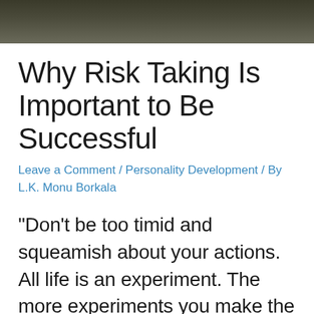[Figure (photo): Dark/blurred photograph at the top of the page, appears to show a muted greenish-brown background]
Why Risk Taking Is Important to Be Successful
Leave a Comment / Personality Development / By L.K. Monu Borkala
“Don’t be too timid and squeamish about your actions. All life is an experiment. The more experiments you make the better.”— Ralph Waldo Emerson When was the last time you